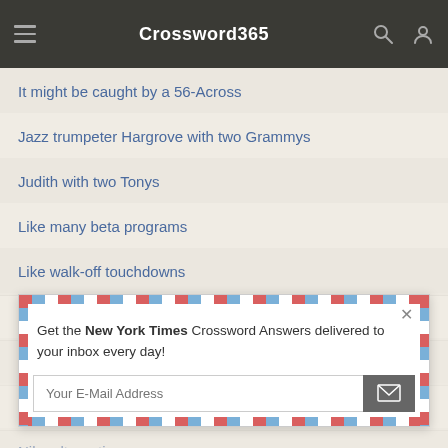Crossword365
It might be caught by a 56-Across
Jazz trumpeter Hargrove with two Grammys
Judith with two Tonys
Like many beta programs
Like walk-off touchdowns
Men's fashion shortcut
Metal finish?
Moby Dick, e.g.
Nike alternative
Get the New York Times Crossword Answers delivered to your inbox every day!
Your E-Mail Address